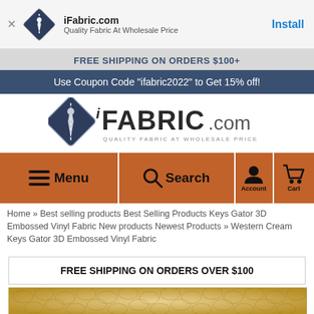[Figure (screenshot): App install banner with iFabric.com logo (navy diamond with needle), app name, tagline, and Install button]
FREE SHIPPING ON ORDERS $100+
Use Coupon Code "ifabric2022" to Get 15% off!
[Figure (logo): iFabric.com logo: navy diamond with needle icon, 'iFABRIC.com' text and 'QUALITY FABRIC AT WHOLESALE PRICE' tagline]
[Figure (screenshot): Navigation bar with orange buttons: Menu (hamburger), Search (magnifier), Account (person icon), Cart (shopping cart icon)]
Home » Best selling products Best Selling Products Keys Gator 3D Embossed Vinyl Fabric New products Newest Products » Western Cream Keys Gator 3D Embossed Vinyl Fabric
FREE SHIPPING ON ORDERS OVER $100
[Figure (photo): Close-up photo of cream/gold colored alligator/gator 3D embossed vinyl fabric texture]